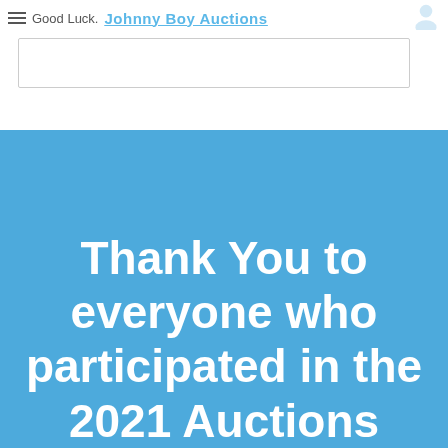Good Luck.  Johnny Boy Auctions
Thank You to everyone who participated in the 2021 Auctions